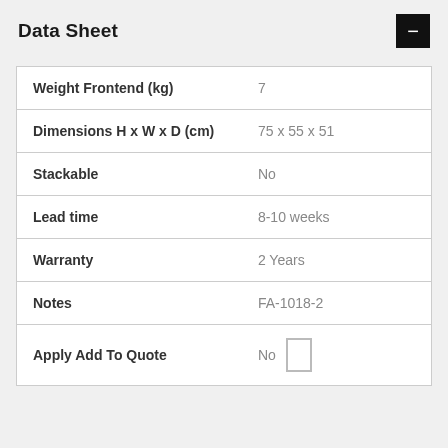Data Sheet
|  |  |
| --- | --- |
| Weight Frontend (kg) | 7 |
| Dimensions H x W x D (cm) | 75 x 55 x 51 |
| Stackable | No |
| Lead time | 8-10 weeks |
| Warranty | 2 Years |
| Notes | FA-1018-2 |
| Apply Add To Quote | No |